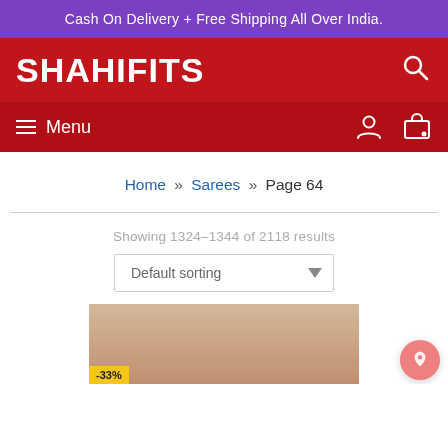Cash On Delivery + Free Shipping All Over India.
SHAHIFITS
Menu
Home » Sarees » Page 64
Showing 1324–1344 of 2118 results
Default sorting
[Figure (photo): Product image showing a woman in a saree with a -33% discount badge, against a brick wall background.]